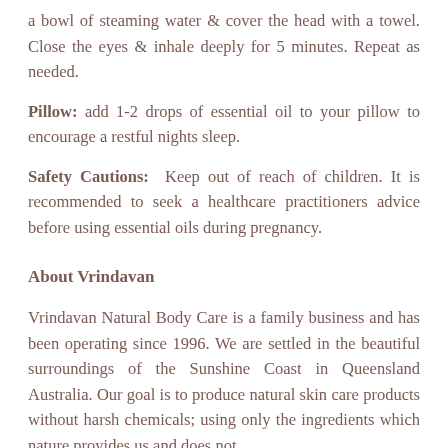a bowl of steaming water & cover the head with a towel. Close the eyes & inhale deeply for 5 minutes. Repeat as needed.
Pillow: add 1-2 drops of essential oil to your pillow to encourage a restful nights sleep.
Safety Cautions: Keep out of reach of children. It is recommended to seek a healthcare practitioners advice before using essential oils during pregnancy.
About Vrindavan
Vrindavan Natural Body Care is a family business and has been operating since 1996. We are settled in the beautiful surroundings of the Sunshine Coast in Queensland Australia. Our goal is to produce natural skin care products without harsh chemicals; using only the ingredients which nature provides us and does not